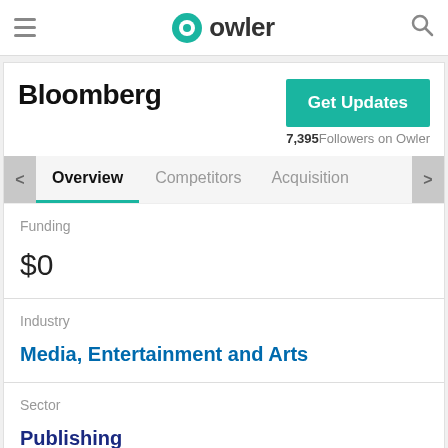owler
Bloomberg
Get Updates
7,395 Followers on Owler
Overview  Competitors  Acquisitions
Funding
$0
Industry
Media, Entertainment and Arts
Sector
Publishing